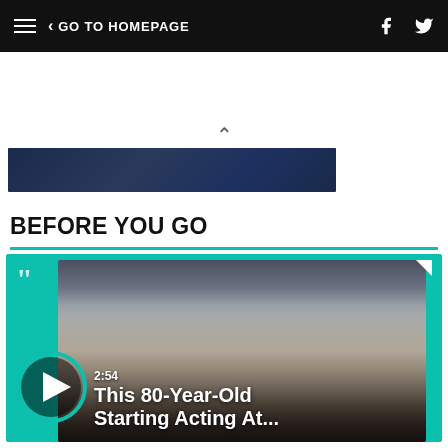GO TO HOMEPAGE
[Figure (screenshot): Dark blue image strip thumbnail]
BEFORE YOU GO
[Figure (photo): Video card with teal background showing group of people, play button, time 2:54, and title 'This 80-Year-Old Starting Acting At...']